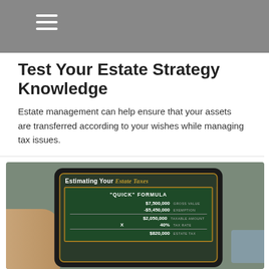Test Your Estate Strategy Knowledge
Estate management can help ensure that your assets are transferred according to your wishes while managing tax issues.
[Figure (photo): Hand holding a tablet displaying 'Estimating Your Estate Taxes' with a 'Quick Formula' chalkboard showing: $7,500,000 Gross Value, -$5,450,000 Exemption, $2,050,000 Taxable Amount, x 40% Tax Rate, $820,000 Estate Tax]